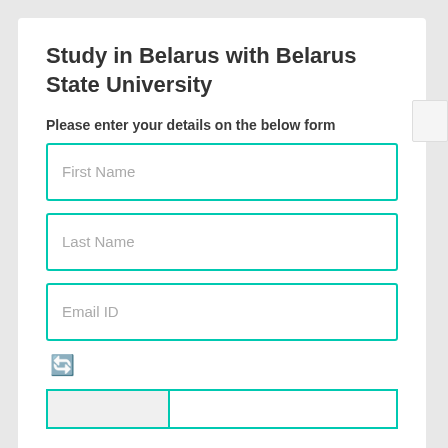Study in Belarus with Belarus State University
Please enter your details on the below form
First Name
Last Name
Email ID